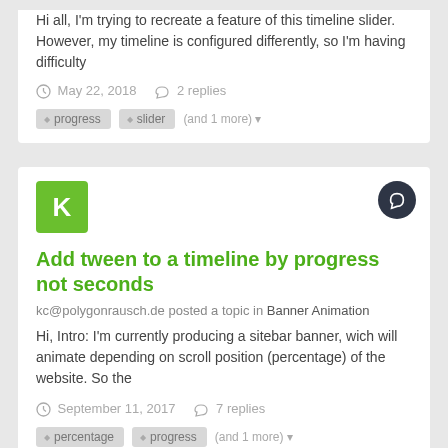Hi all, I'm trying to recreate a feature of this timeline slider. However, my timeline is configured differently, so I'm having difficulty
May 22, 2018   2 replies
progress
slider
(and 1 more)
Add tween to a timeline by progress not seconds
kc@polygonrausch.de posted a topic in Banner Animation
Hi, Intro: I'm currently producing a sitebar banner, wich will animate depending on scroll position (percentage) of the website. So the
September 11, 2017   7 replies
percentage
progress
(and 1 more)